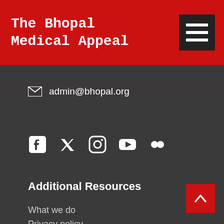The Bhopal Medical Appeal
admin@bhopal.org
[Figure (infographic): Social media icons: Facebook, Twitter, Instagram, YouTube, Flickr]
Additional Resources
What we do
Privacy policy